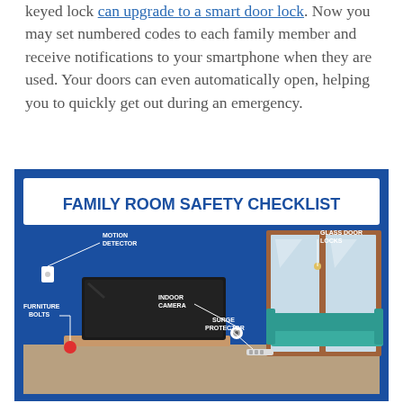keyed lock can upgrade to a smart door lock. Now you may set numbered codes to each family member and receive notifications to your smartphone when they are used. Your doors can even automatically open, helping you to quickly get out during an emergency.
[Figure (infographic): Family Room Safety Checklist infographic showing a blue-background illustrated family room with labeled safety items: Motion Detector, Glass Door Locks, Indoor Camera, Furniture Bolts, Surge Protector. The room illustration includes a TV, a sofa/couch, and sliding glass doors.]